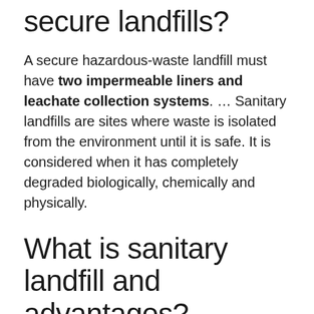secure landfills?
A secure hazardous-waste landfill must have two impermeable liners and leachate collection systems. ... Sanitary landfills are sites where waste is isolated from the environment until it is safe. It is considered when it has completely degraded biologically, chemically and physically.
What is sanitary landfill and advantages?
A sanitary landfill is a waste disposal facility where layers of compacted garbage are covered with layers of earth. ... At any given time, the landfill has a small exposed working area, with the rest of